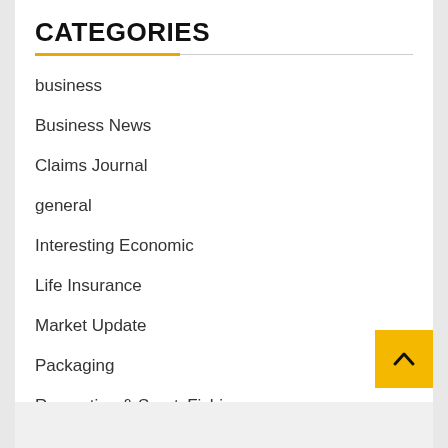CATEGORIES
business
Business News
Claims Journal
general
Interesting Economic
Life Insurance
Market Update
Packaging
Recreation & SportsFishing